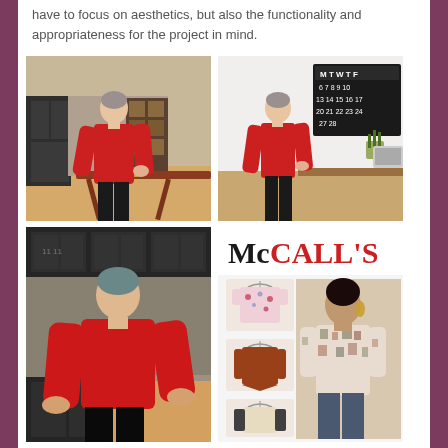have to focus on aesthetics, but also the functionality and appropriateness for the project in mind.
[Figure (photo): Woman in red long-sleeve top posing with hand on hip in a modern kitchen/living room setting]
[Figure (photo): Same woman in red long-sleeve top posing in an office setting with a calendar and computer on the desk]
[Figure (photo): Close-up of woman in red long-sleeve top posing with both hands on hips in a kitchen setting]
[Figure (photo): McCall's sewing pattern M7247 showing three tops: a floral print short-sleeve, a rust asymmetrical top, and a colorblock/geometric top, plus a model wearing a printed knit top]